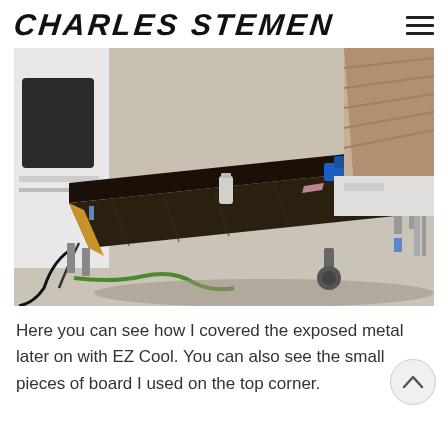CHARLES STEMEN
[Figure (photo): A wooden shelf/drawer unit pulled out from the back of a van, resting partially on the ground, showing exposed metal framing, wood construction with golden edges, dark stained top surface. Tools and items are on top. A green extension cord is on the ground. The van interior and a truck bed are visible in the background.]
Here you can see how I covered the exposed metal later on with EZ Cool. You can also see the small pieces of board I used on the top corner.